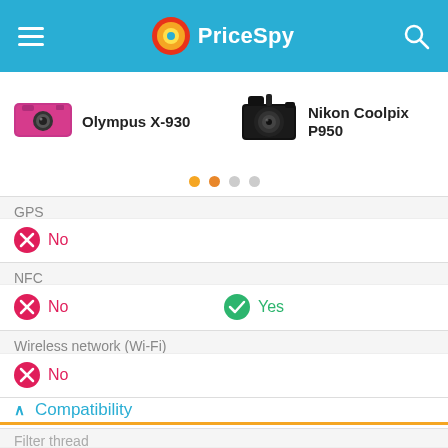PriceSpy
[Figure (screenshot): Olympus X-930 pink compact camera thumbnail]
Olympus X-930
[Figure (screenshot): Nikon Coolpix P950 black camera thumbnail]
Nikon Coolpix P950
GPS
No
NFC
No
Yes
Wireless network (Wi-Fi)
No
Compatibility
Filter thread
No
Yes